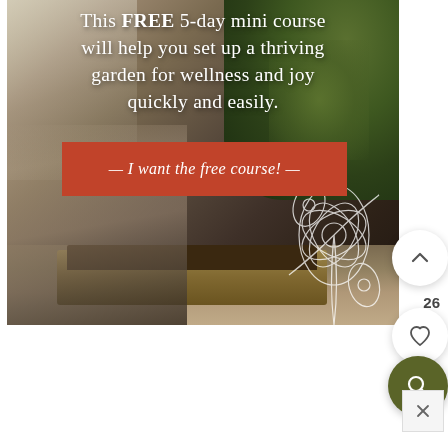[Figure (photo): A woman kneeling beside a raised garden bed with shrubs and plants. She appears to be gardening. The image is used as a promotional background for a free 5-day gardening mini course. UI elements including up arrow, heart, and search buttons overlay the right edge.]
This FREE 5-day mini course will help you set up a thriving garden for wellness and joy quickly and easily.
— I want the free course! —